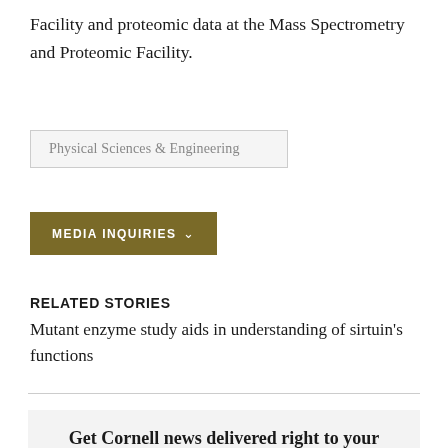Facility and proteomic data at the Mass Spectrometry and Proteomic Facility.
Physical Sciences & Engineering
MEDIA INQUIRIES ˅
RELATED STORIES
Mutant enzyme study aids in understanding of sirtuin's functions
Get Cornell news delivered right to your inbox